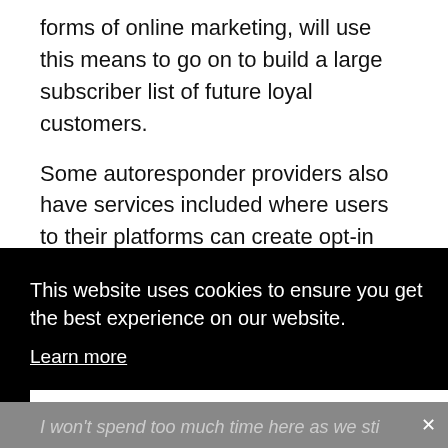forms of online marketing, will use this means to go on to build a large subscriber list of future loyal customers.
Some autoresponder providers also have services included where users to their platforms can create opt-in pages of their liking and ideally match their brand.
This website uses cookies to ensure you get the best experience on our website. Learn more
Got it
I won't spend too much time here as we still